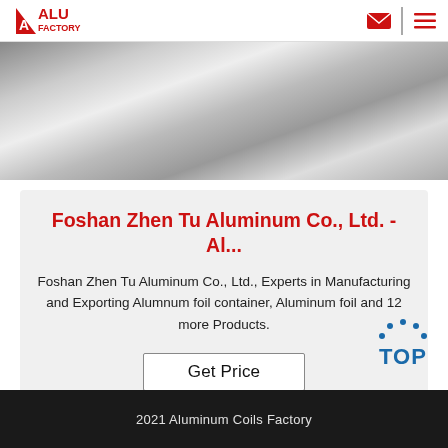ALU FACTORY
[Figure (photo): Close-up photo of aluminum coils or sheets with a silvery metallic surface]
Foshan Zhen Tu Aluminum Co., Ltd. - Al...
Foshan Zhen Tu Aluminum Co., Ltd., Experts in Manufacturing and Exporting Alumnum foil container, Aluminum foil and 12 more Products.
Get Price
2021 Aluminum Coils Factory